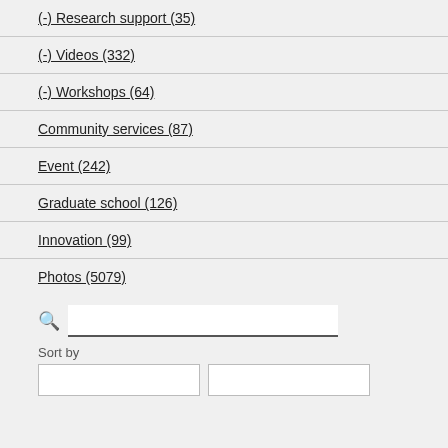(-) Research support (35)
(-) Videos (332)
(-) Workshops (64)
Community services (87)
Event (242)
Graduate school (126)
Innovation (99)
Photos (5079)
Sort by